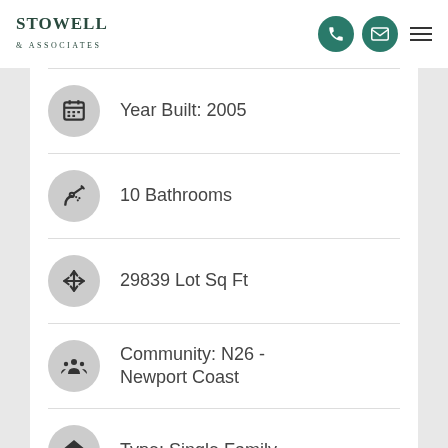STOWELL & ASSOCIATES
Year Built: 2005
10 Bathrooms
29839 Lot Sq Ft
Community: N26 - Newport Coast
Type: Single Family